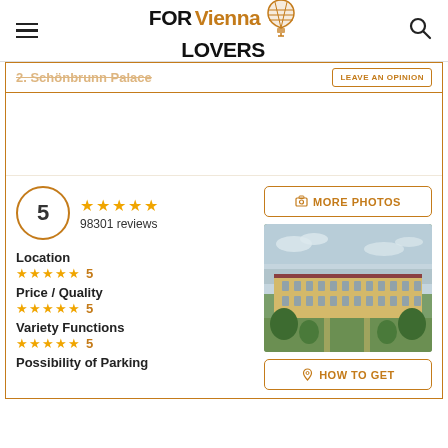FOR Vienna LOVERS
2. Schönbrunn Palace
LEAVE AN OPINION
5 ★★★★★ 98301 reviews
Location ★★★★★ 5
Price / Quality ★★★★★ 5
Variety Functions ★★★★★ 5
Possibility of Parking
MORE PHOTOS
[Figure (photo): Aerial view of Schönbrunn Palace with formal gardens in Vienna]
HOW TO GET